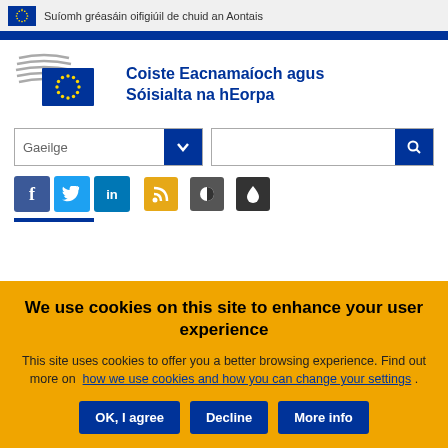Suíomh gréasáin oifigiúil de chuid an Aontais
[Figure (logo): European Economic and Social Committee logo with EU flag and stylized lines]
Coiste Eacnamaíoch agus Sóisialta na hEorpa
Gaeilge [language selector dropdown] [search bar with search button]
[Figure (infographic): Social media icons: Facebook, Twitter, LinkedIn, RSS feed, contrast toggle, and water/theme toggle]
We use cookies on this site to enhance your user experience
This site uses cookies to offer you a better browsing experience. Find out more on how we use cookies and how you can change your settings .
OK, I agree | Decline | More info